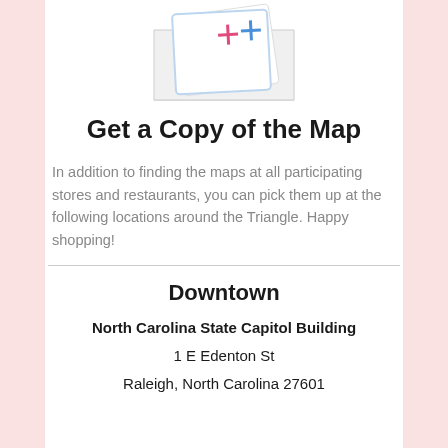[Figure (photo): Folded map brochure with colorful logo visible, shown at an angle against white background]
Get a Copy of the Map
In addition to finding the maps at all participating stores and restaurants, you can pick them up at the following locations around the Triangle. Happy shopping!
Downtown
North Carolina State Capitol Building
1 E Edenton St
Raleigh, North Carolina 27601